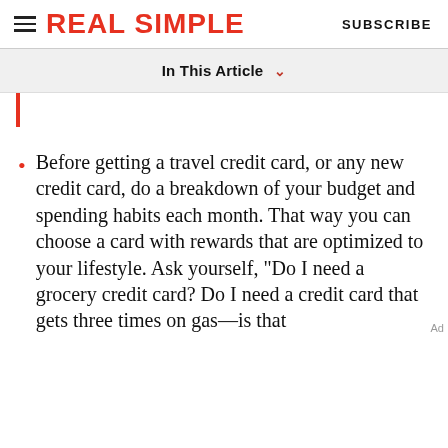REAL SIMPLE  SUBSCRIBE
In This Article
Before getting a travel credit card, or any new credit card, do a breakdown of your budget and spending habits each month. That way you can choose a card with rewards that are optimized to your lifestyle. Ask yourself, "Do I need a grocery credit card? Do I need a credit card that gets three times on gas—is that